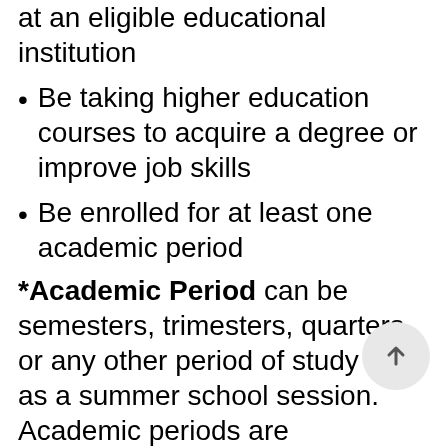at an eligible educational institution
Be taking higher education courses to acquire a degree or improve job skills
Be enrolled for at least one academic period
*Academic Period can be semesters, trimesters, quarters or any other period of study such as a summer school session. Academic periods are determined by the school. For schools that use clock or credit hours and do not have academic terms, the payment period may be treated as an academic period